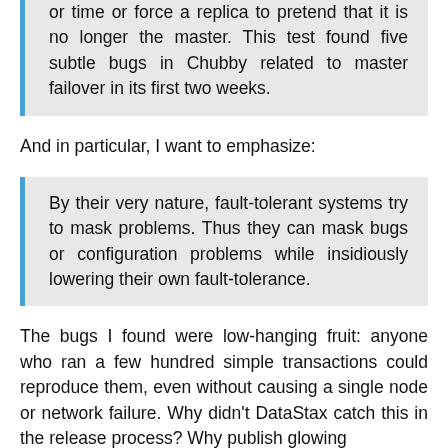or time or force a replica to pretend that it is no longer the master. This test found five subtle bugs in Chubby related to master failover in its first two weeks.
And in particular, I want to emphasize:
By their very nature, fault-tolerant systems try to mask problems. Thus they can mask bugs or configuration problems while insidiously lowering their own fault-tolerance.
The bugs I found were low-hanging fruit: anyone who ran a few hundred simple transactions could reproduce them, even without causing a single node or network failure. Why didn't DataStax catch this in the release process? Why publish glowing